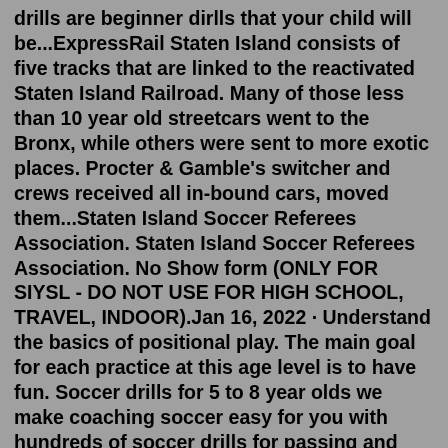drills are beginner dirlls that your child will be...ExpressRail Staten Island consists of five tracks that are linked to the reactivated Staten Island Railroad. Many of those less than 10 year old streetcars went to the Bronx, while others were sent to more exotic places. Procter & Gamble's switcher and crews received all in-bound cars, moved them...Staten Island Soccer Referees Association. Staten Island Soccer Referees Association. No Show form (ONLY FOR SIYSL - DO NOT USE FOR HIGH SCHOOL, TRAVEL, INDOOR).Jan 16, 2022 · Understand the basics of positional play. The main goal for each practice at this age level is to have fun. Soccer drills for 5 to 8 year olds we make coaching soccer easy for you with hundreds of soccer drills for passing and specific soccer exercises for kids. Recommended To Play 5V5 Priority: Quickly find Staten Island NY Kids Soccer. Filter your search results by Soccer Field, Drop In Play, League Play, Private Lessons Offered, Uniform Needed, Soccer Classes, Teach